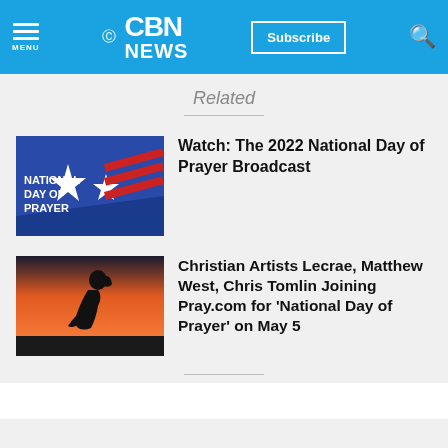CBN NEWS
Related
[Figure (photo): National Day of Prayer graphic with stars and flag on blue background]
Watch: The 2022 National Day of Prayer Broadcast
[Figure (photo): Silhouette of person praying with hands clasped against sunset sky]
Christian Artists Lecrae, Matthew West, Chris Tomlin Joining Pray.com for 'National Day of Prayer' on May 5